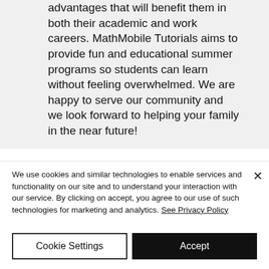advantages that will benefit them in both their academic and work careers. MathMobile Tutorials aims to provide fun and educational summer programs so students can learn without feeling overwhelmed. We are happy to serve our community and we look forward to helping your family in the near future!
We use cookies and similar technologies to enable services and functionality on our site and to understand your interaction with our service. By clicking on accept, you agree to our use of such technologies for marketing and analytics. See Privacy Policy